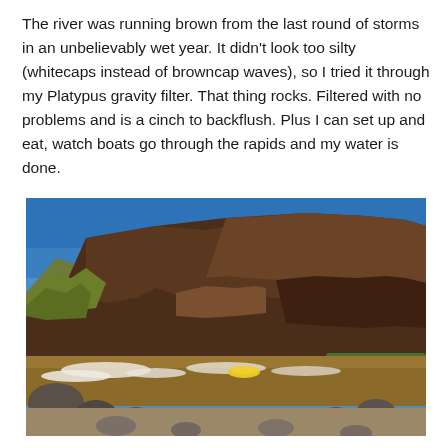The river was running brown from the last round of storms in an unbelievably wet year. It didn't look too silty (whitecaps instead of browncap waves), so I tried it through my Platypus gravity filter. That thing rocks. Filtered with no problems and is a cinch to backflush. Plus I can set up and eat, watch boats go through the rapids and my water is done.
[Figure (photo): A canyon river scene showing a brown, fast-moving river with white water rapids and large rocks in the foreground. A yellow raft is visible midstream. Tall dark reddish-brown canyon walls rise steeply in the background under a bright blue sky. Some green and yellow vegetation is visible on the lower left slopes.]